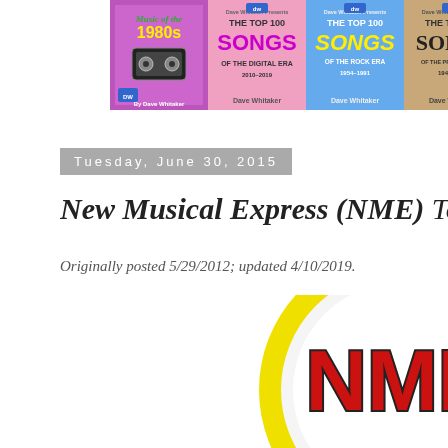[Figure (illustration): Four book covers by Dave Whitaker: Music of the 1980s (purple), The Top 100 Songs of the Digital Era 2010-2019 (pink), The Top 100 Songs of the Rock Era 1954-1991 (blue), The Top 100 Songs of the Pre-Rock Era 1946-1955 (tan)]
Tuesday, June 30, 2015
New Musical Express (NME) Top 100 So...
Originally posted 5/29/2012; updated 4/10/2019.
[Figure (logo): NME (New Musical Express) logo: bold red letters NME with dark outline inside a thick yellow circle on white background]